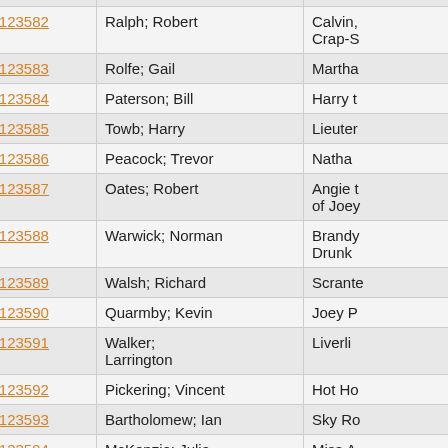| Role ID | Name | Character/Description |
| --- | --- | --- |
| ROLE123582 | Ralph; Robert | Calvin, Crap-S… |
| ROLE123583 | Rolfe; Gail | Martha… |
| ROLE123584 | Paterson; Bill | Harry t… |
| ROLE123585 | Towb; Harry | Lieuter… |
| ROLE123586 | Peacock; Trevor | Natha… |
| ROLE123587 | Oates; Robert | Angie t… of Joey… |
| ROLE123588 | Warwick; Norman | Brandy… Drunk… |
| ROLE123589 | Walsh; Richard | Scrante… |
| ROLE123590 | Quarmby; Kevin | Joey P… |
| ROLE123591 | Walker; Larrington | Liverli… |
| ROLE123592 | Pickering; Vincent | Hot Ho… |
| ROLE123593 | Bartholomew; Ian | Sky Ro… |
| ROLE123594 | McKenzie; Julia | Miss A… |
| ROLE123595 | Ball; Carol | Hot Bo… |
| ROLE123596 | Cooper; Sally | Hot Bo… |